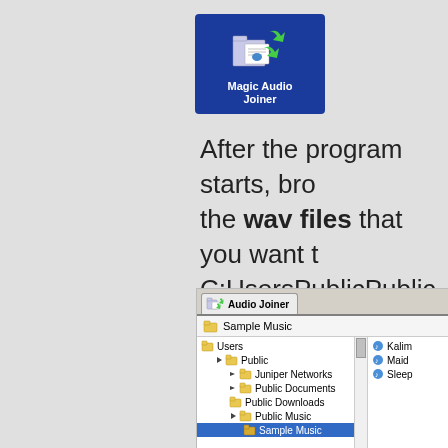[Figure (screenshot): Magic Audio Joiner application icon — blue background with folder/document icons and green arrows, white text label 'Magic Audio Joiner']
After the program starts, browse the wav files that you want to join. C:UsersPublicPublic MusicSa... some sample wav audio file...
[Figure (screenshot): Audio Joiner application window showing file browser with folder tree: Users > Public > Juniper Networks, Public Documents, Public Downloads, Public Music > Sample Music (selected). Right panel shows Kalim..., Maid..., Sleep... audio files with scrollbar.]